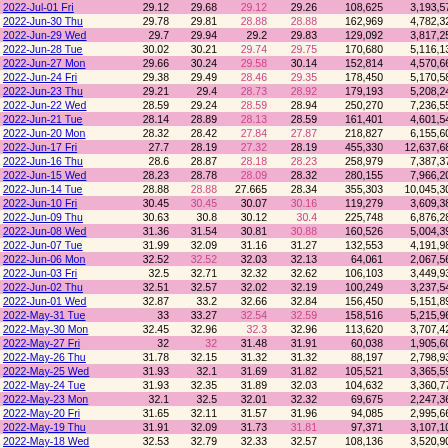| Date | Open | High | Low | Close | Volume | Adj Volume |
| --- | --- | --- | --- | --- | --- | --- |
| 2022-Jul-01 Fri | 29.12 | 29.68 | 29.12 | 29.26 | 108,625 | 3,193,575 |
| 2022-Jun-30 Thu | 29.78 | 29.81 | 28.88 | 28.88 | 162,969 | 4,782,325 |
| 2022-Jun-29 Wed | 29.7 | 29.94 | 29.2 | 29.83 | 129,092 | 3,817,250 |
| 2022-Jun-28 Tue | 30.02 | 30.21 | 29.74 | 29.75 | 170,680 | 5,116,133 |
| 2022-Jun-27 Mon | 29.66 | 30.24 | 29.58 | 30.14 | 152,814 | 4,570,666 |
| 2022-Jun-24 Fri | 29.38 | 29.49 | 28.46 | 29.35 | 178,450 | 5,170,588 |
| 2022-Jun-23 Thu | 29.21 | 29.4 | 28.73 | 28.92 | 179,193 | 5,208,244 |
| 2022-Jun-22 Wed | 28.59 | 29.24 | 28.59 | 28.94 | 250,270 | 7,236,557 |
| 2022-Jun-21 Tue | 28.14 | 28.89 | 28.13 | 28.59 | 161,401 | 4,601,542 |
| 2022-Jun-20 Mon | 28.32 | 28.42 | 27.84 | 27.87 | 218,827 | 6,155,603 |
| 2022-Jun-17 Fri | 27.7 | 28.19 | 27.32 | 28.19 | 455,330 | 12,637,684 |
| 2022-Jun-16 Thu | 28.6 | 28.87 | 28.18 | 28.23 | 258,979 | 7,387,375 |
| 2022-Jun-15 Wed | 28.23 | 28.78 | 28.09 | 28.32 | 280,155 | 7,966,207 |
| 2022-Jun-14 Tue | 28.88 | 28.88 | 27.665 | 28.34 | 355,303 | 10,045,304 |
| 2022-Jun-10 Fri | 30.45 | 30.45 | 30.07 | 30.16 | 119,279 | 3,609,382 |
| 2022-Jun-09 Thu | 30.63 | 30.8 | 30.12 | 30.4 | 225,748 | 6,876,284 |
| 2022-Jun-08 Wed | 31.36 | 31.54 | 30.81 | 30.88 | 160,526 | 5,004,398 |
| 2022-Jun-07 Tue | 31.99 | 32.09 | 31.16 | 31.27 | 132,553 | 4,191,988 |
| 2022-Jun-06 Mon | 32.52 | 32.52 | 32.03 | 32.13 | 64,061 | 2,067,568 |
| 2022-Jun-03 Fri | 32.5 | 32.71 | 32.32 | 32.62 | 106,103 | 3,449,939 |
| 2022-Jun-02 Thu | 32.51 | 32.57 | 32.02 | 32.19 | 100,249 | 3,237,541 |
| 2022-Jun-01 Wed | 32.87 | 33.2 | 32.66 | 32.84 | 156,450 | 5,151,898 |
| 2022-May-31 Tue | 33 | 33.27 | 32.54 | 32.59 | 158,516 | 5,215,968 |
| 2022-May-30 Mon | 32.45 | 32.96 | 32.3 | 32.96 | 113,620 | 3,707,420 |
| 2022-May-27 Fri | 32 | 32 | 31.48 | 31.91 | 60,038 | 1,905,606 |
| 2022-May-26 Thu | 31.78 | 32.15 | 31.32 | 31.32 | 88,197 | 2,798,931 |
| 2022-May-25 Wed | 31.93 | 32.1 | 31.69 | 31.82 | 105,521 | 3,365,592 |
| 2022-May-24 Tue | 31.93 | 32.35 | 31.89 | 32.03 | 104,632 | 3,360,779 |
| 2022-May-23 Mon | 32.1 | 32.5 | 32.01 | 32.32 | 69,675 | 2,247,367 |
| 2022-May-20 Fri | 31.65 | 32.11 | 31.57 | 31.96 | 94,085 | 2,995,666 |
| 2022-May-19 Thu | 31.91 | 32.09 | 31.73 | 31.81 | 97,371 | 3,107,108 |
| 2022-May-18 Wed | 32.53 | 32.79 | 32.33 | 32.57 | 108,136 | 3,520,908 |
| 2022-May-17 Tue | 32.24 | 32.55 | 32.24 | 32.35 | 78,457 | 2,541,614 |
| 2022-May-16 Mon | 32.22 | 32.6 | 31.94 | 32.49 | 183,983 | 5,937,131 |
| 2022-May-13 Fri | 31.45 | 32.45 | 31.4 | 32.45 | 101,000 | 5,787,610 |